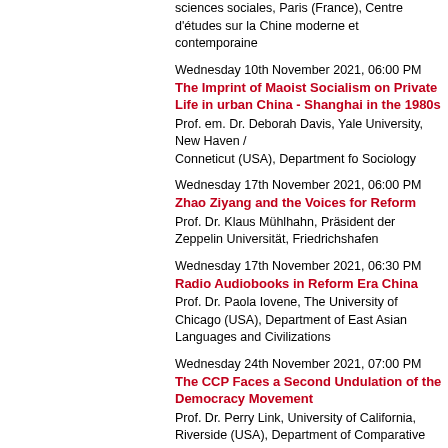sciences sociales, Paris (France), Centre d'études sur la Chine moderne et contemporaine
Wednesday 10th November 2021, 06:00 PM
The Imprint of Maoist Socialism on Private Life in urban China - Shanghai in the 1980s
Prof. em. Dr. Deborah Davis, Yale University, New Haven / Conneticut (USA), Department fo Sociology
Wednesday 17th November 2021, 06:00 PM
Zhao Ziyang and the Voices for Reform
Prof. Dr. Klaus Mühlhahn, Präsident der Zeppelin Universität, Friedrichshafen
Wednesday 17th November 2021, 06:30 PM
Radio Audiobooks in Reform Era China
Prof. Dr. Paola Iovene, The University of Chicago (USA), Department of East Asian Languages and Civilizations
Wednesday 24th November 2021, 07:00 PM
The CCP Faces a Second Undulation of the Democracy Movement
Prof. Dr. Perry Link, University of California, Riverside (USA), Department of Comparative Literature and Languages
Wednesday 01st December 2021, 04:00 PM
Return to Communism? The Advent of the Xi Jinping Era in China
Prof. Dr. Steve Tsang, SOAS University of London (UK), China Institute
Wednesday 01st December 2021, 05:00 PM